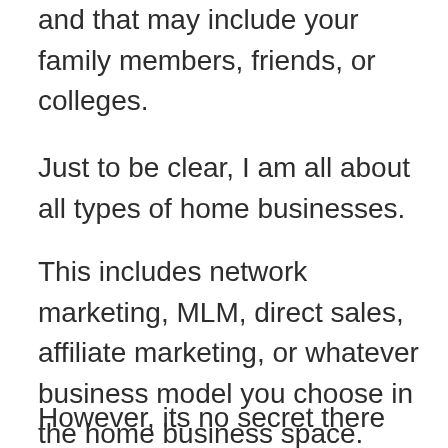and that may include your family members, friends, or colleges.
Just to be clear, I am all about all types of home businesses.
This includes network marketing, MLM, direct sales, affiliate marketing, or whatever business model you choose in the home business space.
However, its no secret there are scores of people that despise the industry or even